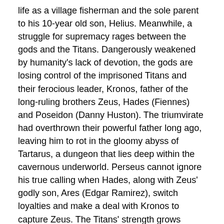life as a village fisherman and the sole parent to his 10-year old son, Helius. Meanwhile, a struggle for supremacy rages between the gods and the Titans. Dangerously weakened by humanity's lack of devotion, the gods are losing control of the imprisoned Titans and their ferocious leader, Kronos, father of the long-ruling brothers Zeus, Hades (Fiennes) and Poseidon (Danny Huston). The triumvirate had overthrown their powerful father long ago, leaving him to rot in the gloomy abyss of Tartarus, a dungeon that lies deep within the cavernous underworld. Perseus cannot ignore his true calling when Hades, along with Zeus' godly son, Ares (Edgar Ramirez), switch loyalties and make a deal with Kronos to capture Zeus. The Titans' strength grows stronger as Zeus' remaining godly powers are siphoned, and hell is unleashed on earth. Enlisting the help of the warrior Queen Andromeda (Rosamund Pike), Poseidon's demigod son,